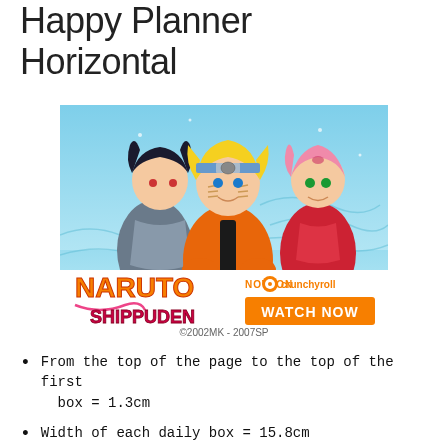Happy Planner Horizontal
[Figure (illustration): Naruto Shippuden promotional banner ad showing Naruto, Sasuke, and Sakura characters with 'NOW ON Crunchyroll' and 'WATCH NOW' button, copyright ©2002MK - 2007SP]
©2002MK - 2007SP
From the top of the page to the top of the first box = 1.3cm
Width of each daily box = 15.8cm